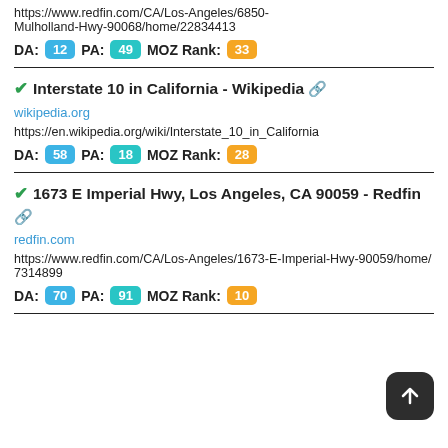https://www.redfin.com/CA/Los-Angeles/6850-Mulholland-Hwy-90068/home/22834413
DA: 12 PA: 49 MOZ Rank: 33
Interstate 10 in California - Wikipedia
wikipedia.org
https://en.wikipedia.org/wiki/Interstate_10_in_California
DA: 58 PA: 18 MOZ Rank: 28
1673 E Imperial Hwy, Los Angeles, CA 90059 - Redfin
redfin.com
https://www.redfin.com/CA/Los-Angeles/1673-E-Imperial-Hwy-90059/home/7314899
DA: 70 PA: 91 MOZ Rank: 10